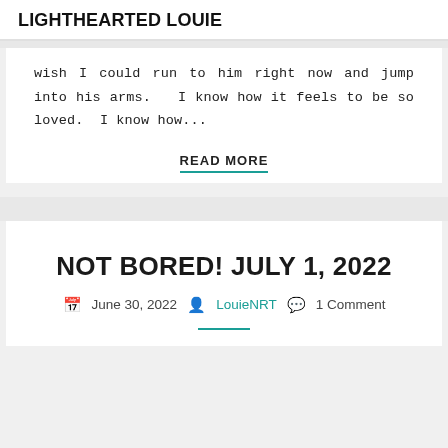LIGHTHEARTED LOUIE
wish I could run to him right now and jump into his arms.   I know how it feels to be so loved.  I know how...
READ MORE
NOT BORED! JULY 1, 2022
June 30, 2022  LouieNRT  1 Comment